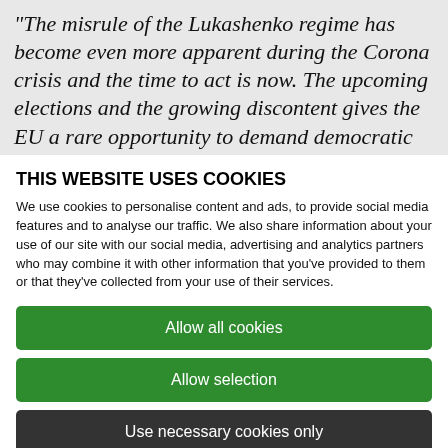“The misrule of the Lukashenko regime has become even more apparent during the Corona crisis and the time to act is now. The upcoming elections and the growing discontent gives the EU a rare opportunity to demand democratic elections in Belarus, and the EU should seize that
THIS WEBSITE USES COOKIES
We use cookies to personalise content and ads, to provide social media features and to analyse our traffic. We also share information about your use of our site with our social media, advertising and analytics partners who may combine it with other information that you’ve provided to them or that they’ve collected from your use of their services.
Allow all cookies
Allow selection
Use necessary cookies only
Necessary  Preferences  Statistics  Marketing  Show details